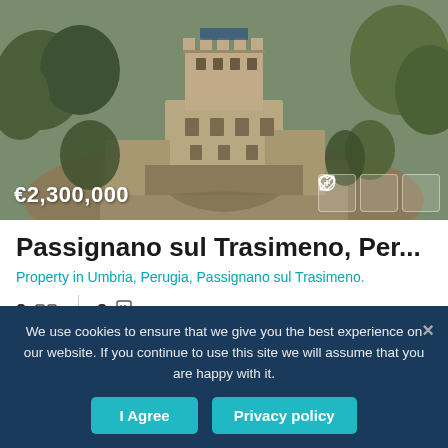[Figure (photo): Aerial view of a medieval castle/tower in Umbria, Italy, surrounded by trees and open land. The stone building has battlements and is photographed from above.]
€2,300,000
Passignano sul Trasimeno, Per...
Property in Umbria, Perugia, Passignano sul Trasimeno.
8 [bed] 8 [bath]
We use cookies to ensure that we give you the best experience on our website. If you continue to use this site we will assume that you are happy with it.
I Agree
Privacy policy